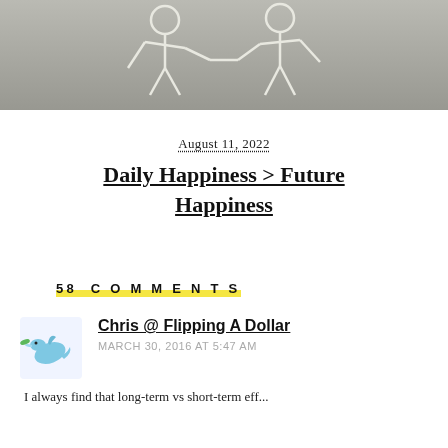[Figure (illustration): Black and white illustration of two dancing skeletons holding hands]
August 11, 2022
Daily Happiness > Future Happiness
58 COMMENTS
Chris @ Flipping A Dollar
MARCH 30, 2016 AT 5:47 AM